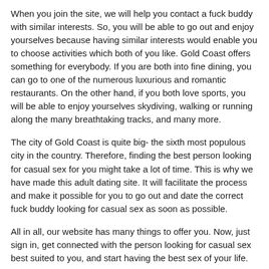When you join the site, we will help you contact a fuck buddy with similar interests. So, you will be able to go out and enjoy yourselves because having similar interests would enable you to choose activities which both of you like. Gold Coast offers something for everybody. If you are both into fine dining, you can go to one of the numerous luxurious and romantic restaurants. On the other hand, if you both love sports, you will be able to enjoy yourselves skydiving, walking or running along the many breathtaking tracks, and many more.
The city of Gold Coast is quite big- the sixth most populous city in the country. Therefore, finding the best person looking for casual sex for you might take a lot of time. This is why we have made this adult dating site. It will facilitate the process and make it possible for you to go out and date the correct fuck buddy looking for casual sex as soon as possible.
All in all, our website has many things to offer you. Now, just sign in, get connected with the person looking for casual sex best suited to you, and start having the best sex of your life.